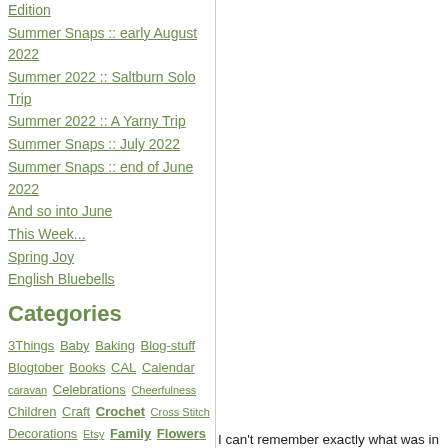Edition
Summer Snaps :: early August 2022
Summer 2022 :: Saltburn Solo Trip
Summer 2022 :: A Yarny Trip
Summer Snaps :: July 2022
Summer Snaps :: end of June 2022
And so into June
This Week...
Spring Joy
English Bluebells
Categories
3Things Baby Baking Blog-stuff Blogtober Books CAL Calendar caravan Celebrations Cheerfulness Children Craft Crochet Cross Stitch Decorations Etsy Family Flowers Food Food and Drink Friends Furniture Gardening Holidays Home House in-the-bag Inspiration Knitting Lovely*Things magazines
I can't remember exactly what was in our remember now how sweet and juicy they miraculously transported into the middle of nanosecond of it.